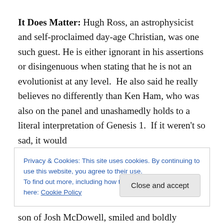It Does Matter: Hugh Ross, an astrophysicist and self-proclaimed day-age Christian, was one such guest. He is either ignorant in his assertions or disingenuous when stating that he is not an evolutionist at any level.  He also said he really believes no differently than Ken Ham, who was also on the panel and unashamedly holds to a literal interpretation of Genesis 1.  If it weren't so sad, it would
Privacy & Cookies: This site uses cookies. By continuing to use this website, you agree to their use.
To find out more, including how to control cookies, see here: Cookie Policy
son of Josh McDowell, smiled and boldly proclaimed that it